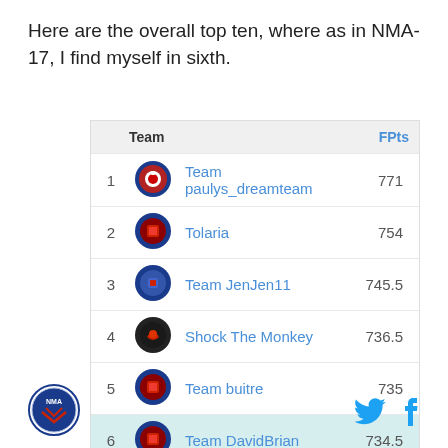Here are the overall top ten, where as in NMA-17, I find myself in sixth.
|  |  | Team | FPts |
| --- | --- | --- | --- |
| 1 |  | Team paulys_dreamteam | 771 |
| 2 |  | Tolaria | 754 |
| 3 |  | Team JenJen11 | 745.5 |
| 4 |  | Shock The Monkey | 736.5 |
| 5 |  | Team buitre | 735 |
| 6 |  | Team DavidBrian | 734.5 |